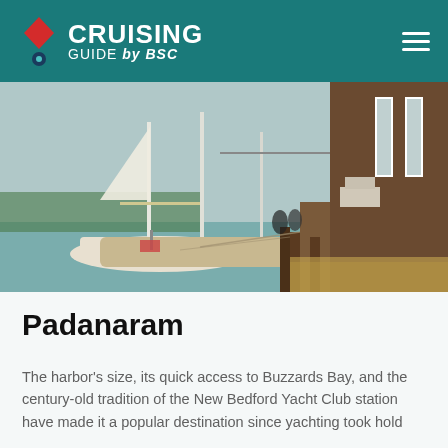CRUISING GUIDE by BSC
[Figure (photo): Sailboats moored at a dock with masts visible, alongside a brown wooden building structure, vintage photograph style]
Padanaram
The harbor's size, its quick access to Buzzards Bay, and the century-old tradition of the New Bedford Yacht Club station have made it a popular destination since yachting took hold